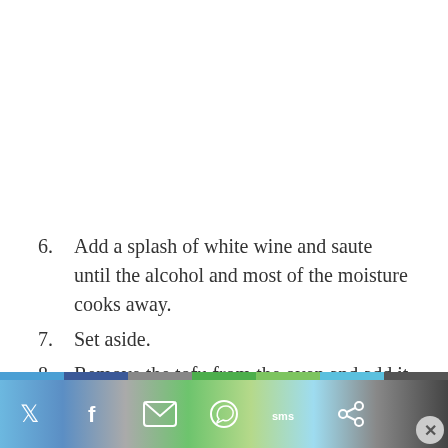6. Add a splash of white wine and saute until the alcohol and most of the moisture cooks away.
7. Set aside.
8. Remove the tofu from the oven and add it to a preheated saute pan over medium high heat with 1 tsp of oil. Continue to pan fry until golden and some of the